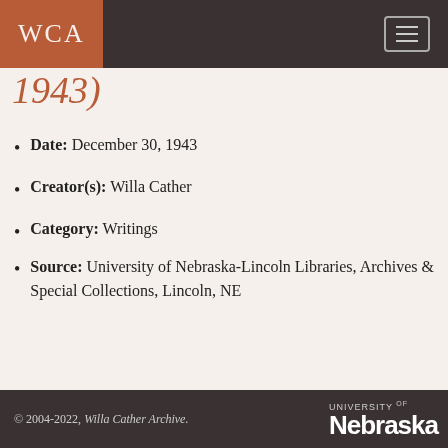WCA
1943)
Date: December 30, 1943
Creator(s): Willa Cather
Category: Writings
Source: University of Nebraska-Lincoln Libraries, Archives & Special Collections, Lincoln, NE
Sort By: Date (earliest first)
© 2004-2022, Willa Cather Archive.